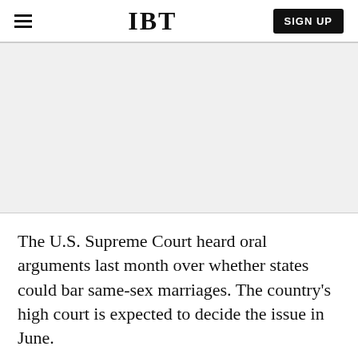IBT
[Figure (other): Advertisement placeholder — light gray rectangle]
The U.S. Supreme Court heard oral arguments last month over whether states could bar same-sex marriages. The country’s high court is expected to decide the issue in June.